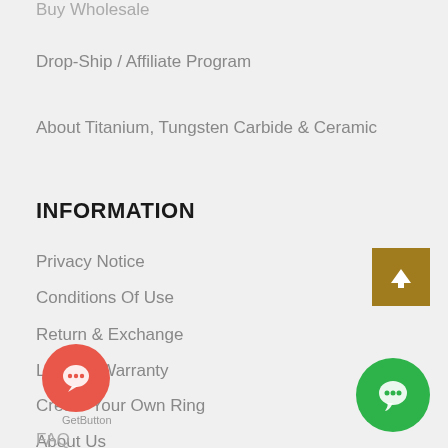Buy Wholesale
Drop-Ship / Affiliate Program
About Titanium, Tungsten Carbide & Ceramic
INFORMATION
Privacy Notice
Conditions Of Use
Return & Exchange
Lifetime Warranty
Create Your Own Ring
About Us
Contact Us
FAQ